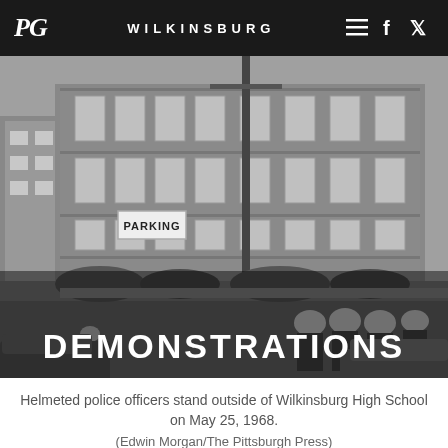PG — WILKINSBURG
[Figure (photo): Black and white photograph of helmeted police officers standing outside Wilkinsburg High School on May 25, 1968. A large multi-story brick school building is visible in the background with a PARKING sign visible. The word DEMONSTRATIONS is overlaid in large bold white text across the bottom of the image.]
Helmeted police officers stand outside of Wilkinsburg High School on May 25, 1968.
(Edwin Morgan/The Pittsburgh Press)